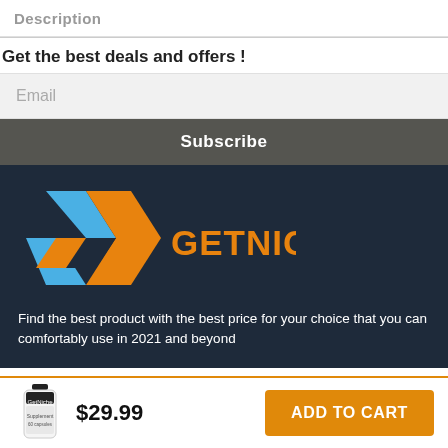Description
Get the best deals and offers !
Email
Subscribe
[Figure (logo): GetNichePlus logo with angular chevron icon in blue and orange, and orange uppercase text GETNICHEPLUS]
Find the best product with the best price for your choice that you can comfortably use in 2021 and beyond
[Figure (photo): Small product bottle image]
$29.99
ADD TO CART